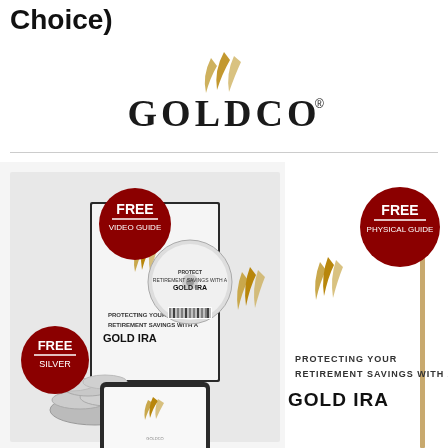Choice)
[Figure (logo): Goldco logo with stylized golden flame above the text GOLDCO with a registered trademark symbol]
[Figure (photo): Goldco promotional image showing free video guide, free silver, and free physical guide offers for a Gold IRA. Includes a booklet titled 'Protecting Your Retirement Savings with a Gold IRA', a DVD, silver coins, a tablet, and a sign post with 'FREE PHYSICAL GUIDE' badge. Text reads: PROTECTING YOUR RETIREMENT SAVINGS WITH A GOLD IRA]